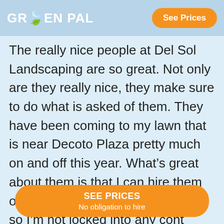GREENPAL | See Prices
The really nice people at Del Sol Landscaping are so great. Not only are they really nice, they make sure to do what is asked of them. They have been coming to my lawn that is near Decoto Plaza pretty much on and off this year. What's great about them is that I can hire them only when I need lawn care work, so I'm not locked into any cont... d it has ...way.
SEE PRICES
No obligation to hire